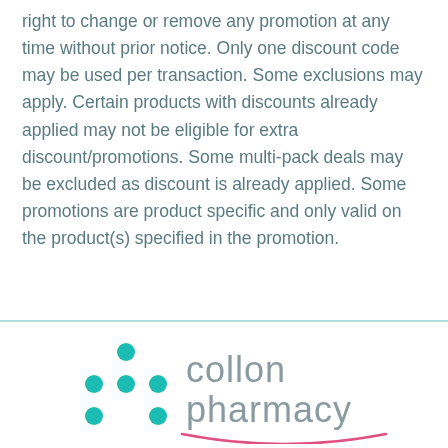right to change or remove any promotion at any time without prior notice. Only one discount code may be used per transaction. Some exclusions may apply. Certain products with discounts already applied may not be eligible for extra discount/promotions. Some multi-pack deals may be excluded as discount is already applied. Some promotions are product specific and only valid on the product(s) specified in the promotion.
[Figure (logo): Collon Pharmacy logo with teal dots arranged in a grid pattern on the left and the text 'collon pharmacy' in gray on the right, with a pink arc underline beneath]